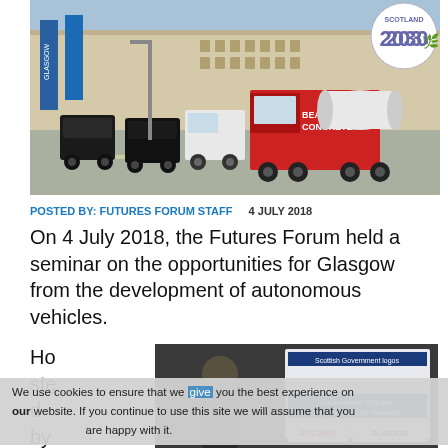[Figure (photo): Street scene in Glasgow showing heavy traffic including taxis, vans, and a large red Beatson's Concrete truck, with city buildings and blue banners in background. Scotland 2030 badge in top right corner.]
POSTED BY: FUTURES FORUM STAFF   4 JULY 2018
On 4 July 2018, the Futures Forum held a seminar on the opportunities for Glasgow from the development of autonomous vehicles.
Hosted by Gla
[Figure (photo): A speaker presenting at an event with a slide showing 'Autonomous Vehicles: Opportunities for Glasgow', with Jacobs and Glasgow logos visible.]
We use cookies to ensure that we give you the best experience on our website. If you continue to use this site we will assume that you are happy with it.